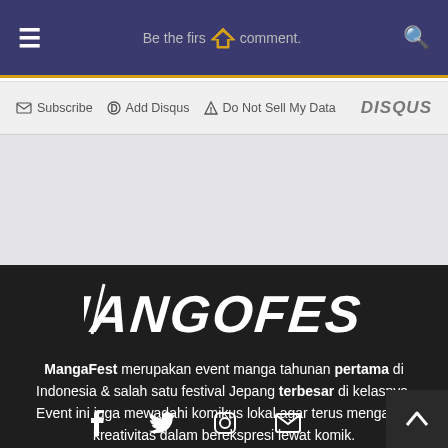Be the first to comment.
Subscribe  Add Disqus  Do Not Sell My Data  DISQUS
[Figure (logo): MangaFest stylized logo in white on dark background]
MangaFest merupakan event manga tahunan pertama di Indonesia & salah satu festival Jepang terbesar di kelasnya. Event ini juga mewadahi komikus lokal agar terus mengasah kreativitas dalam berekspresi lewat komik.